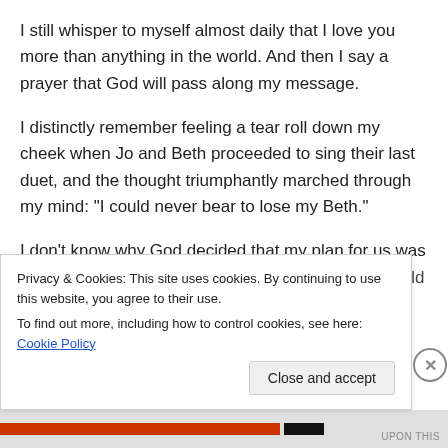I still whisper to myself almost daily that I love you more than anything in the world. And then I say a prayer that God will pass along my message.
I distinctly remember feeling a tear roll down my cheek when Jo and Beth proceeded to sing their last duet, and the thought triumphantly marched through my mind: “I could never bear to lose my Beth.”
I don’t know why God decided that my plan for us was wrong. My plan for us was perfect in my mind: I would get
Privacy & Cookies: This site uses cookies. By continuing to use this website, you agree to their use.
To find out more, including how to control cookies, see here: Cookie Policy
Close and accept